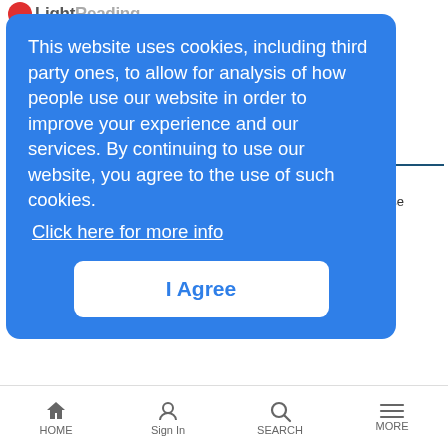LightReading
This website uses cookies, including third party ones, to allow for analysis of how people use our website in order to improve your experience and our services. By continuing to use our website, you agree to the use of such cookies. Click here for more info
I Agree
mobile s these using actual wallets for cash. I guess the benefit of the smartphone is in the additional services to which the mobile wallet can be linked.
REPLY | POST MESSAGE | MESSAGES LIST | START A BOARD
EDUCATIONAL RESOURCES
HOME Sign In SEARCH MORE